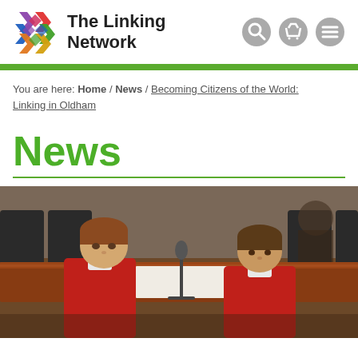The Linking Network
You are here: Home / News / Becoming Citizens of the World: Linking in Oldham
News
[Figure (photo): Two young boys in red school uniforms sitting at a conference table looking down at papers, with chairs and other people visible in the background]